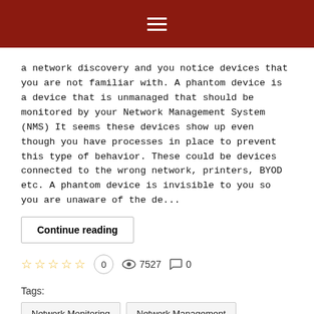≡
a network discovery and you notice devices that you are not familiar with. A phantom device is a device that is unmanaged that should be monitored by your Network Management System (NMS) It seems these devices show up even though you have processes in place to prevent this type of behavior. These could be devices connected to the wrong network, printers, BYOD etc. A phantom device is invisible to you so you are unaware of the de...
Continue reading
☆☆☆☆☆  0   👁 7527   💬 0
Tags:
Network Monitoring
Network Management
Network Monitoring Software
Share  Tweet  Like 0  Share